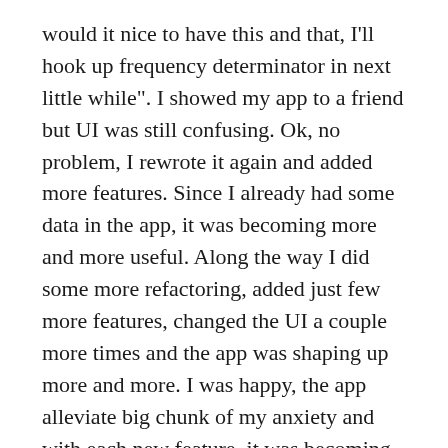would it nice to have this and that, I'll hook up frequency determinator in next little while". I showed my app to a friend but UI was still confusing. Ok, no problem, I rewrote it again and added more features. Since I already had some data in the app, it was becoming more and more useful. Along the way I did some more refactoring, added just few more features, changed the UI a couple more times and the app was shaping up more and more. I was happy, the app alleviate big chunk of my anxiety and with each new feature, it was becoming more valuable and refined.
Is it there yet? Nope, I still need to rewrite the UI, since there is lot of room for improvement